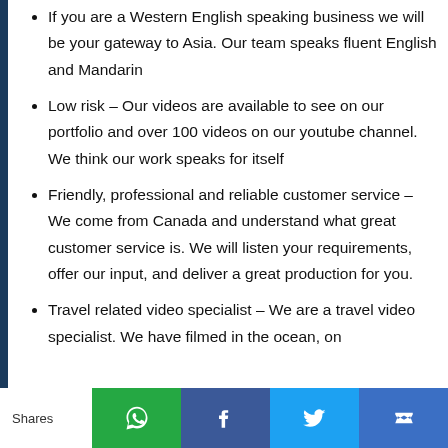If you are a Western English speaking business we will be your gateway to Asia. Our team speaks fluent English and Mandarin
Low risk – Our videos are available to see on our portfolio and over 100 videos on our youtube channel. We think our work speaks for itself
Friendly, professional and reliable customer service – We come from Canada and understand what great customer service is. We will listen your requirements, offer our input, and deliver a great production for you.
Travel related video specialist – We are a travel video specialist. We have filmed in the ocean, on